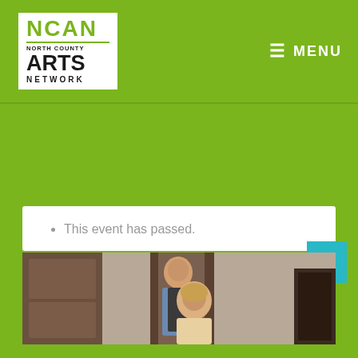[Figure (logo): NCAN North County Arts Network logo — white box with green NCAN text and black bold ARTS NETWORK text]
≡ MENU
This event has passed.
[Figure (photo): Two people (a man and a woman) standing in front of wooden doors/cabinets]